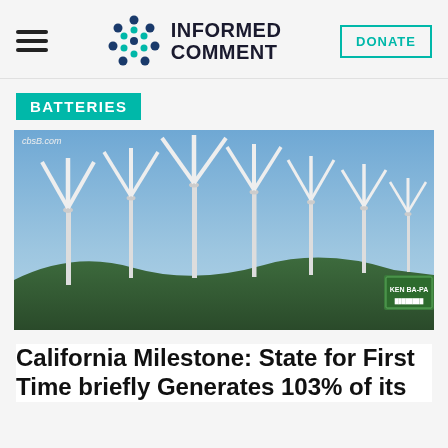INFORMED COMMENT
BATTERIES
[Figure (photo): Wind farm with multiple large white wind turbines against a clear blue sky, with hills and a green highway sign visible. Credit: cbsB.com]
California Milestone: State for First Time briefly Generates 103% of its